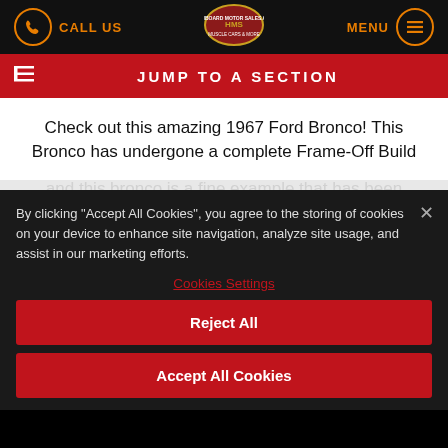CALL US | [Logo: Hamboard Motor Sales Muscle Cars & More] | MENU
JUMP TO A SECTION
Check out this amazing 1967 Ford Bronco! This Bronco has undergone a complete Frame-Off Build
By clicking "Accept All Cookies", you agree to the storing of cookies on your device to enhance site navigation, analyze site usage, and assist in our marketing efforts.
Cookies Settings
Reject All
Accept All Cookies